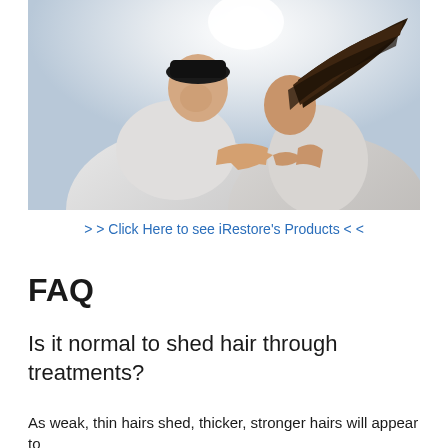[Figure (photo): Two people leaning toward each other, one wearing a black cap and white t-shirt, the other with long dark hair blowing in the wind, both wearing white clothing against a bright sky background.]
> > Click Here to see iRestore's Products < <
FAQ
Is it normal to shed hair through treatments?
As weak, thin hairs shed, thicker, stronger hairs will appear to